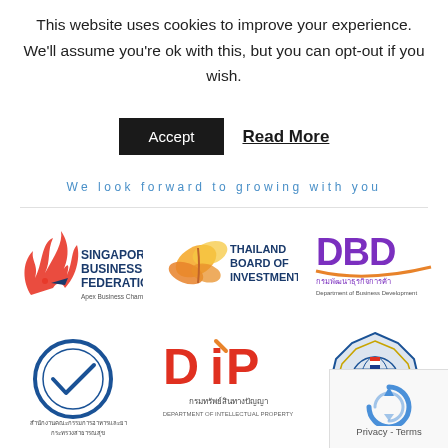This website uses cookies to improve your experience. We'll assume you're ok with this, but you can opt-out if you wish.
Accept  Read More
We look forward to growing with you
[Figure (logo): Singapore Business Federation - Apex Business Chamber logo with red flame and blue text]
[Figure (logo): Thailand Board of Investment logo with orange butterfly and blue/orange text]
[Figure (logo): DBD - Department of Business Development logo with purple stylized text]
[Figure (logo): Thai circular logo with blue border and checkmark - Office of the Basic Education Commission]
[Figure (logo): DIP - Department of Intellectual Property logo with red/orange text and Thai script]
[Figure (logo): Thai Ministry of Commerce circular badge/seal logo]
[Figure (logo): Google reCAPTCHA privacy badge in bottom right corner]